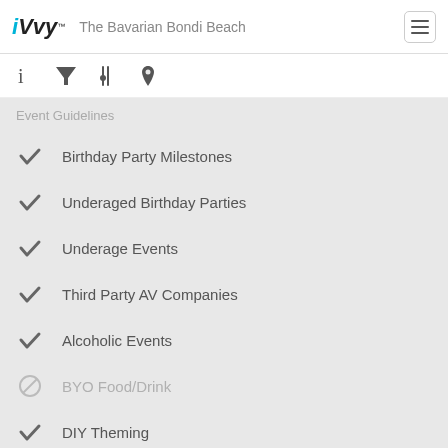iVvy™ – The Bavarian Bondi Beach
Event Guidelines
Birthday Party Milestones
Underaged Birthday Parties
Underage Events
Third Party AV Companies
Alcoholic Events
BYO Food/Drink
DIY Theming
21st/18th Parties